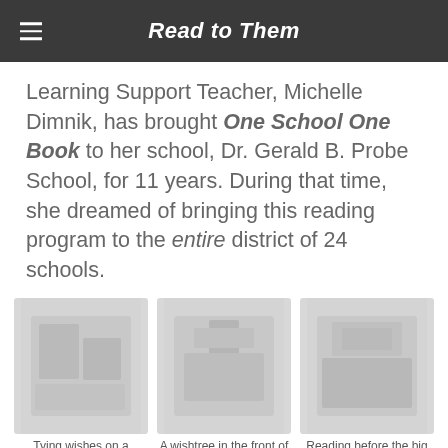Read to Them
Learning Support Teacher, Michelle Dimnik, has brought One School One Book to her school, Dr. Gerald B. Probe School, for 11 years. During that time, she dreamed of bringing this reading program to the entire district of 24 schools.
[Figure (photo): Photo of children tying wishes on a wishtree]
Tying wishes on a wishtree!
[Figure (photo): Photo of a wishtree in the front of the school]
A wishtree in the front of the school
[Figure (photo): Photo of reading before the big game]
Reading before the big game